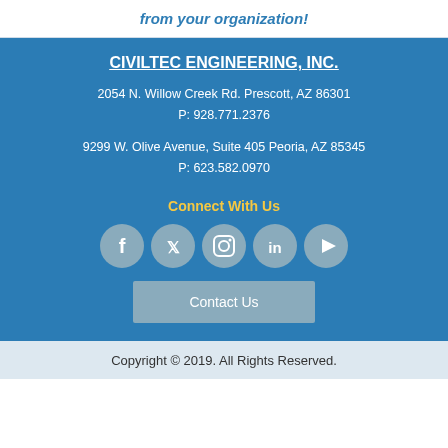from your organization!
CIVILTEC ENGINEERING, INC.
2054 N. Willow Creek Rd. Prescott, AZ 86301
P: 928.771.2376
9299 W. Olive Avenue, Suite 405 Peoria, AZ 85345
P: 623.582.0970
Connect With Us
[Figure (other): Social media icons: Facebook, Twitter, Instagram, LinkedIn, YouTube]
Contact Us
Copyright © 2019. All Rights Reserved.